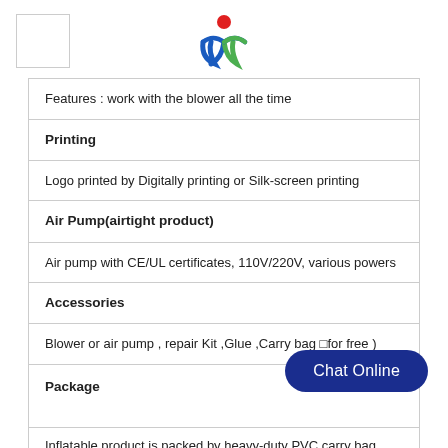| Features : work with the blower all the time |
| Printing |
| Logo printed by Digitally printing or Silk-screen printing |
| Air Pump(airtight product) |
| Air pump with CE/UL certificates, 110V/220V, various powers |
| Accessories |
| Blower or air pump , repair Kit ,Glue ,Carry bag (for free ) |
| Package |
| Inflatable product is packed by heavy-duty PVC carry bag, |